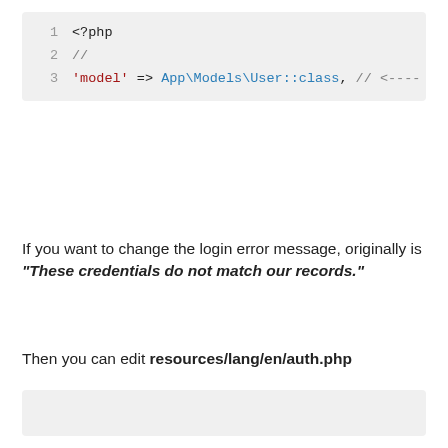[Figure (screenshot): Code block showing PHP snippet with line numbers 1-3: <?php, //, 'model' => App\Models\User::class, // <----]
If you want to change the login error message, originally is "These credentials do not match our records."
Then you can edit resources/lang/en/auth.php
[Figure (screenshot): Empty code block / placeholder]